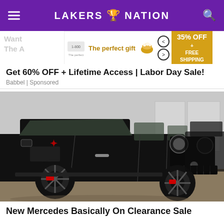LAKERS NATION
[Figure (infographic): Advertisement banner: The perfect gift, 35% OFF + FREE SHIPPING]
Want ... here's The A...
Get 60% OFF + Lifetime Access | Labor Day Sale!
Babbel | Sponsored
[Figure (photo): Black Mercedes-Benz G-Class SUV (G-Wagon) on display, viewed from front-left angle in what appears to be a dealership.]
New Mercedes Basically On Clearance Sale